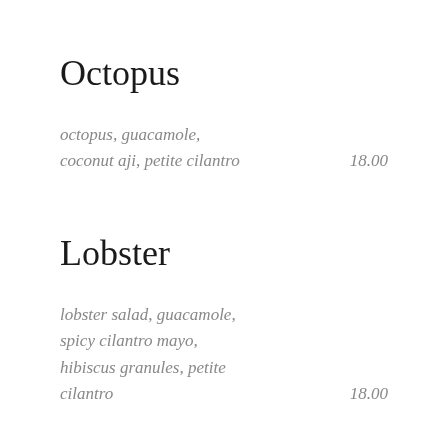Octopus
octopus, guacamole,
coconut aji, petite cilantro
18.00
Lobster
lobster salad, guacamole,
spicy cilantro mayo,
hibiscus granules, petite
cilantro
18.00